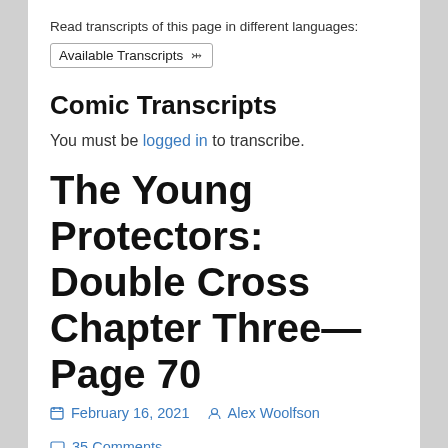Read transcripts of this page in different languages:
Available Transcripts ˅
Comic Transcripts
You must be logged in to transcribe.
The Young Protectors: Double Cross Chapter Three—Page 70
February 16, 2021   Alex Woolfson   35 Comments
200 yard accuracy with a hand gun is quite impressive, but then she does grow up to be a bad-ass superhero…